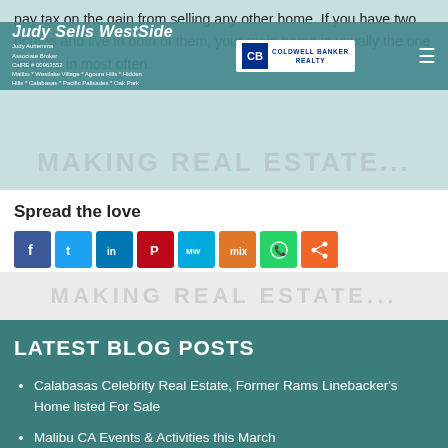pay tax on the gain from selling any other home. If you have two homes and live in both of them, your main home is usually the one you live in most often.
Judy Sells WestSide | Judy Auriemma, Associate Broker, CalRE # 00963552, Malibu * Westlake Village * Agoura Hills * Hidden Hills * Calabasas * Pacific Palisades * Oak Park | Coldwell Banker Realty
Spread the love
[Figure (infographic): Social share buttons: Facebook, Twitter, LinkedIn, Pinterest, MeWe, Mix, WhatsApp, Share]
[Figure (infographic): Watermark/background text overlay (partially visible, faded)]
LATEST BLOG POSTS
Calabasas Celebrity Real Estate, Former Rams Linebacker's Home listed For Sale
Malibu CA Events & Activities this March